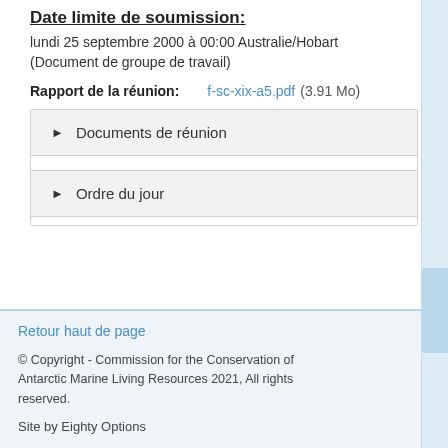Date limite de soumission:
lundi 25 septembre 2000 à 00:00 Australie/Hobart (Document de groupe de travail)
Rapport de la réunion: f-sc-xix-a5.pdf (3.91 Mo)
| ▶ Documents de réunion |
| ▶ Ordre du jour |
Retour haut de page
© Copyright - Commission for the Conservation of Antarctic Marine Living Resources 2021, All rights reserved.
Site by Eighty Options